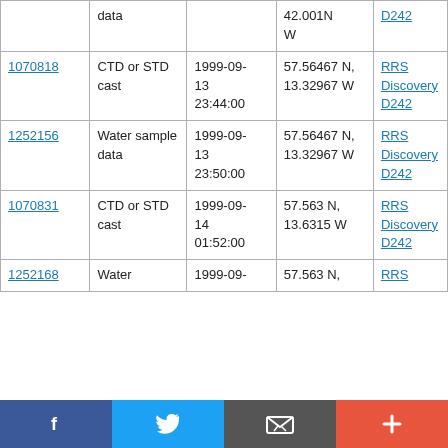| ID | Type | Date/Time | Location | Cruise |
| --- | --- | --- | --- | --- |
| [partial] | data | [partial] | 42.001N W | D242 |
| 1070818 | CTD or STD cast | 1999-09-13 23:44:00 | 57.56467 N, 13.32967 W | RRS Discovery D242 |
| 1252156 | Water sample data | 1999-09-13 23:50:00 | 57.56467 N, 13.32967 W | RRS Discovery D242 |
| 1070831 | CTD or STD cast | 1999-09-14 01:52:00 | 57.563 N, 13.6315 W | RRS Discovery D242 |
| 1252168 | Water | 1999-09- | 57.563 N, | RRS |
Social share bar: Facebook, Twitter, Email, Plus